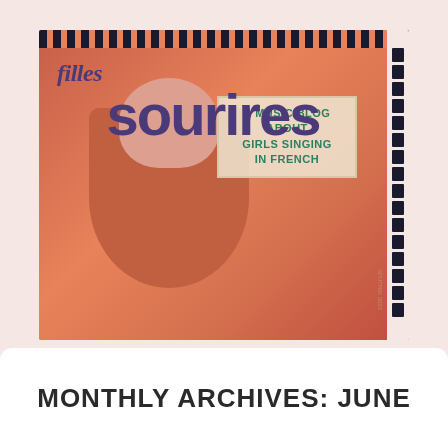[Figure (illustration): Filles Sourires music blog logo shaped like a vintage postage stamp. Features a retro illustration of a girl with long hair on an orange/coral background. Text reads 'filles' in cursive purple script and 'sourires' in large bold purple letters. A box on the right reads 'A MUSIC BLOG ABOUT GIRLS SINGING IN FRENCH' in teal/green text. Top has a repeating black stamp perforation pattern, right side has black stamp perforations.]
MONTHLY ARCHIVES: JUNE